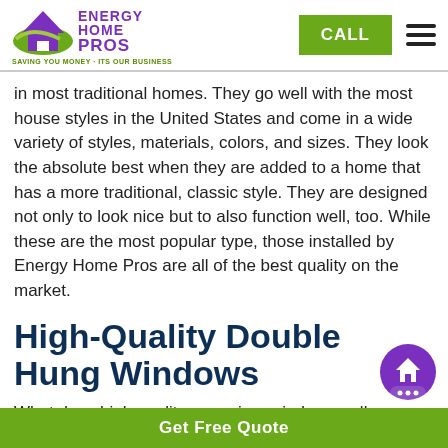[Figure (logo): Energy Home Pros logo with house icon, purple and green, tagline: SAVING YOU MONEY - ITS OUR BUSINESS]
in most traditional homes. They go well with the most house styles in the United States and come in a wide variety of styles, materials, colors, and sizes. They look the absolute best when they are added to a home that has a more traditional, classic style. They are designed not only to look nice but to also function well, too. While these are the most popular type, those installed by Energy Home Pros are all of the best quality on the market.
High-Quality Double Hung Windows
What does high quality mean in a window, really
Get Free Quote